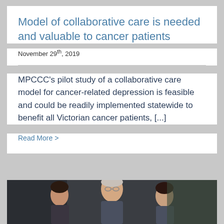Model of collaborative care is needed and valuable to cancer patients
November 29th, 2019
MPCCC's pilot study of a collaborative care model for cancer-related depression is feasible and could be readily implemented statewide to benefit all Victorian cancer patients, [...]
Read More >
[Figure (photo): Photo of three people smiling, partially visible at bottom of page]